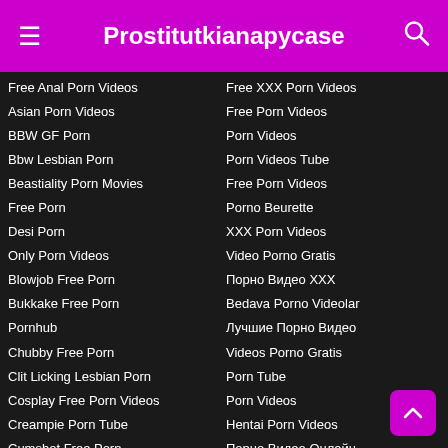Prostitutkianapycase
Free Anal Porn Videos
Asian Porn Videos
BBW GF Porn
Bbw Lesbian Porn
Beastiality Porn Movies
Free Porn
Desi Porn
Only Porn Videos
Blowjob Free Porn
Bukkake Free Porn
Pornhub
Chubby Free Porn
Clit Licking Lesbian Porn
Cosplay Free Porn Videos
Creampie Porn Tube
Cumshot Free Porn
Cumshot Porn Tube
Free Porn Videos
Kostenlose Pornovideos
Kostenlose Deutsche Pornofil
Free XXX Porn Videos
Free Porn Videos
Porn Videos
Porn Videos Tube
Free Porn Videos
Porno Beurette
XXX Porn Videos
Video Porno Gratis
Порно Видео ХХХ
Bedava Porno Videolar
Лучшие Порно Видео
Videos Porno Gratis
Porn Tube
Porn Videos
Hentai Porn Videos
Порно Видео Онлайн
Bedava Porno Videolar
XXX Porn Videos
Couple Xxx Porn Videos
Public Free Porn